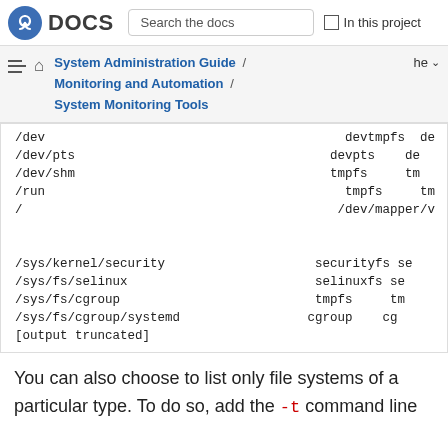Fedora DOCS | Search the docs | In this project
System Administration Guide / Monitoring and Automation / System Monitoring Tools  he
/dev	 devtmpfs	 de
/dev/pts	 devpts	 de
/dev/shm	 tmpfs	 tm
/run	 tmpfs	 tm
/	 /dev/mapper/v
		 ex
/sys/kernel/security	 securityfs	 se
/sys/fs/selinux	 selinuxfs	 se
/sys/fs/cgroup	 tmpfs	 tm
/sys/fs/cgroup/systemd	 cgroup	 cg
[output truncated]
You can also choose to list only file systems of a particular type. To do so, add the -t command line